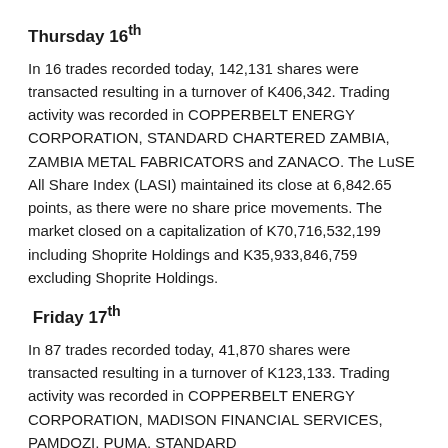Thursday 16th
In 16 trades recorded today, 142,131 shares were transacted resulting in a turnover of K406,342. Trading activity was recorded in COPPERBELT ENERGY CORPORATION, STANDARD CHARTERED ZAMBIA, ZAMBIA METAL FABRICATORS and ZANACO. The LuSE All Share Index (LASI) maintained its close at 6,842.65 points, as there were no share price movements. The market closed on a capitalization of K70,716,532,199 including Shoprite Holdings and K35,933,846,759 excluding Shoprite Holdings.
Friday 17th
In 87 trades recorded today, 41,870 shares were transacted resulting in a turnover of K123,133. Trading activity was recorded in COPPERBELT ENERGY CORPORATION, MADISON FINANCIAL SERVICES, PAMDOZI, PUMA, STANDARD